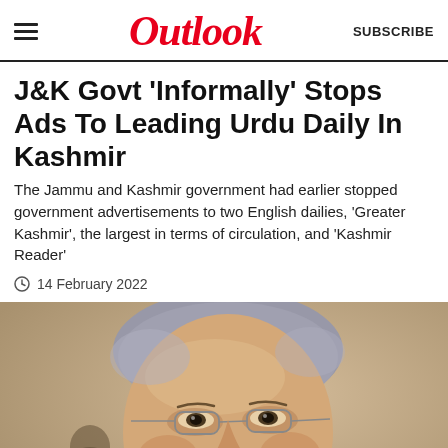Outlook | SUBSCRIBE
J&K Govt 'Informally' Stops Ads To Leading Urdu Daily In Kashmir
The Jammu and Kashmir government had earlier stopped government advertisements to two English dailies, 'Greater Kashmir', the largest in terms of circulation, and 'Kashmir Reader'
14 February 2022
[Figure (photo): Close-up portrait photograph of a man with grey hair and glasses, wearing white clothing, against a beige/tan background]